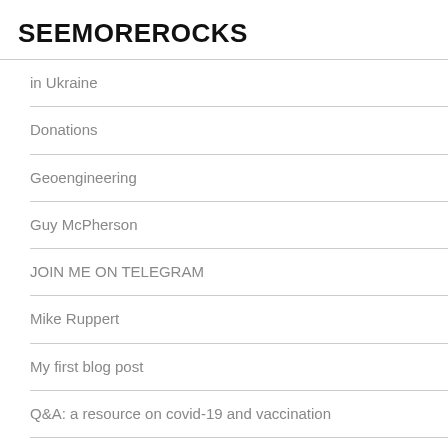SEEMOREROCKS
in Ukraine
Donations
Geoengineering
Guy McPherson
JOIN ME ON TELEGRAM
Mike Ruppert
My first blog post
Q&A: a resource on covid-19 and vaccination
SARS-CoV-2 An Aerosolized Prion Disease – And Potential Symptomatic Profile
The social contract has been broken by the few